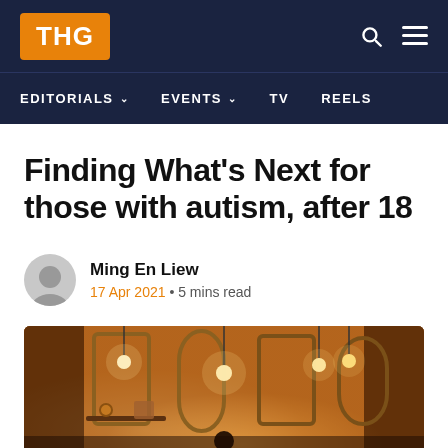THG — EDITORIALS · EVENTS · TV · REELS
Finding What's Next for those with autism, after 18
Ming En Liew
17 Apr 2021 • 5 mins read
[Figure (photo): Interior room with warm amber lighting, pendant lamps, mirrors on the wall, and a person partially visible at the bottom center]